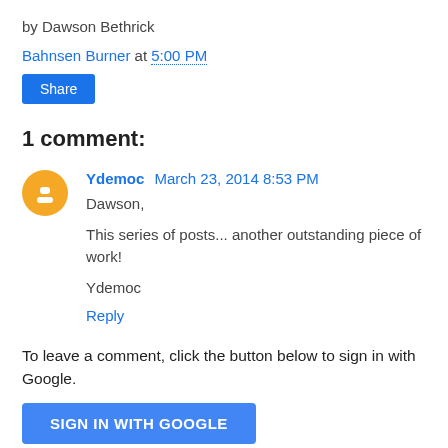by Dawson Bethrick
Bahnsen Burner at 5:00 PM
Share
1 comment:
Ydemoc March 23, 2014 8:53 PM
Dawson,

This series of posts... another outstanding piece of work!

Ydemoc

Reply
To leave a comment, click the button below to sign in with Google.
SIGN IN WITH GOOGLE